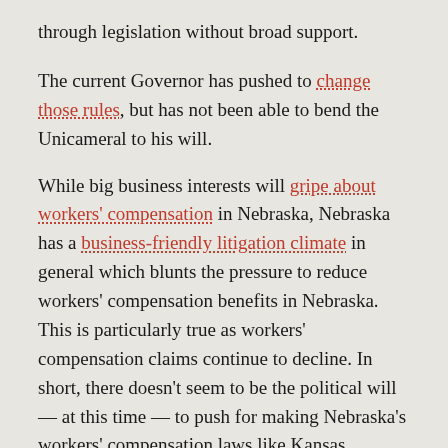through legislation without broad support.
The current Governor has pushed to change those rules, but has not been able to bend the Unicameral to his will.
While big business interests will gripe about workers' compensation in Nebraska, Nebraska has a business-friendly litigation climate in general which blunts the pressure to reduce workers' compensation benefits in Nebraska. This is particularly true as workers' compensation claims continue to decline. In short, there doesn't seem to be the political will — at this time — to push for making Nebraska's workers' compensation laws like Kansas workers' compensation laws.